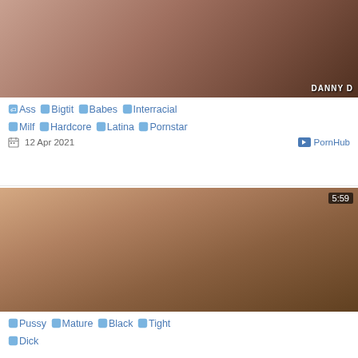[Figure (photo): Video thumbnail showing two people, with watermark text 'DANNY D' in bottom right corner]
🏷 Ass 🏷 Bigtit 🏷 Babes 🏷 Interracial 🏷 Milf 🏷 Hardcore 🏷 Latina 🏷 Pornstar
12 Apr 2021   PornHub
[Figure (photo): Video thumbnail showing two people, duration badge '5:59' in top right corner]
🏷 Pussy 🏷 Mature 🏷 Black 🏷 Tight 🏷 Dick
2 Nov 2020   Bravo Teens
[Figure (photo): Partial video thumbnail visible at bottom, duration badge '10:52' in top right corner]